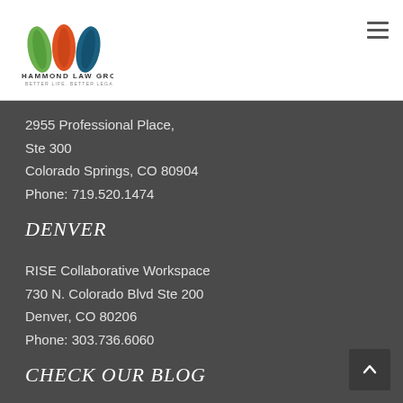[Figure (logo): Hammond Law Group logo with three colored leaf icons (green, red/orange, teal) above the text HAMMOND LAW GROUP and tagline BETTER LIFE. BETTER LEGACY.]
2955 Professional Place,
Ste 300
Colorado Springs, CO 80904
Phone: 719.520.1474
DENVER
RISE Collaborative Workspace
730 N. Colorado Blvd Ste 200
Denver, CO 80206
Phone: 303.736.6060
CHECK OUR BLOG